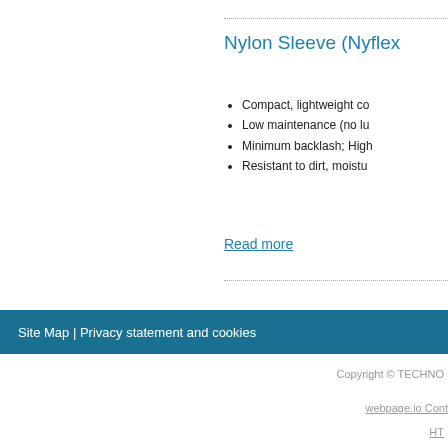Nylon Sleeve (Nyflex
Compact, lightweight co
Low maintenance (no lu
Minimum backlash; Higl
Resistant to dirt, moistu
Read more
Site Map | Privacy statement and cookies
Copyright © TECHNO
webpage.io Cont
HT